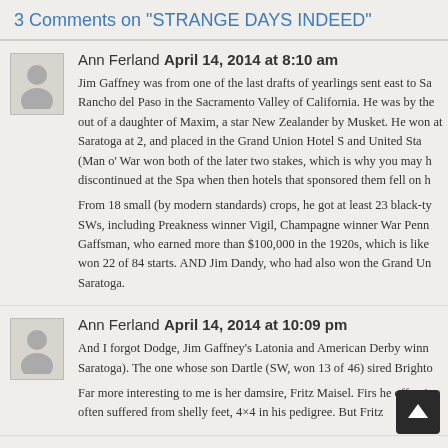3 Comments on "STRANGE DAYS INDEED"
Ann Ferland April 14, 2014 at 8:10 am
Jim Gaffney was from one of the last drafts of yearlings sent east to Sa... Rancho del Paso in the Sacramento Valley of California. He was by the... out of a daughter of Maxim, a star New Zealander by Musket. He won... at Saratoga at 2, and placed in the Grand Union Hotel S and United Sta... (Man o' War won both of the later two stakes, which is why you may h... discontinued at the Spa when then hotels that sponsored them fell on h...
From 18 small (by modern standards) crops, he got at least 23 black-ty... SWs, including Preakness winner Vigil, Champagne winner War Penn... Gaffsman, who earned more than $100,000 in the 1920s, which is like... won 22 of 84 starts. AND Jim Dandy, who had also won the Grand Un... Saratoga.
Ann Ferland April 14, 2014 at 10:09 pm
And I forgot Dodge, Jim Gaffney's Latonia and American Derby winn... Saratoga). The one whose son Dartle (SW, won 13 of 46) sired Brighto...
Far more interesting to me is her damsire, Fritz Maisel. Firs... he... offspring often suffered from shelly feet, 4×4 in his pedigree. But Fritz...